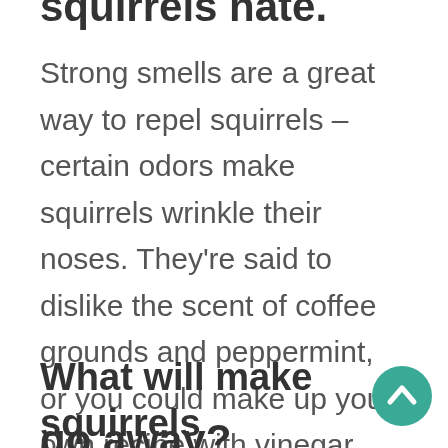squirrels hate.
Strong smells are a great way to repel squirrels – certain odors make squirrels wrinkle their noses. They're said to dislike the scent of coffee grounds and peppermint, or you could make up your own recipe with vinegar, garlic and onions or peppermint oil to spray in the garden.J
What will make squirrels go away?